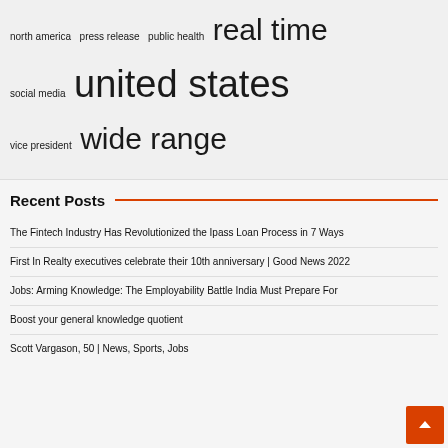north america  press release  public health  real time
social media  united states
vice president  wide range
Recent Posts
The Fintech Industry Has Revolutionized the Ipass Loan Process in 7 Ways
First In Realty executives celebrate their 10th anniversary | Good News 2022
Jobs: Arming Knowledge: The Employability Battle India Must Prepare For
Boost your general knowledge quotient
Scott Vargason, 50 | News, Sports, Jobs